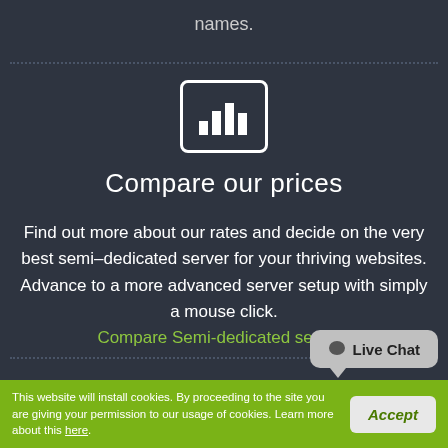names.
[Figure (illustration): Bar chart icon inside a rounded rectangle border, white outline on dark background]
Compare our prices
Find out more about our rates and decide on the very best semi–dedicated server for your thriving websites. Advance to a more advanced server setup with simply a mouse click.
Compare Semi-dedicated servers
[Figure (illustration): Live Chat speech bubble button in gray]
This website will install cookies. By proceeding to the site you are giving your permission to our usage of cookies. Learn more about this here.